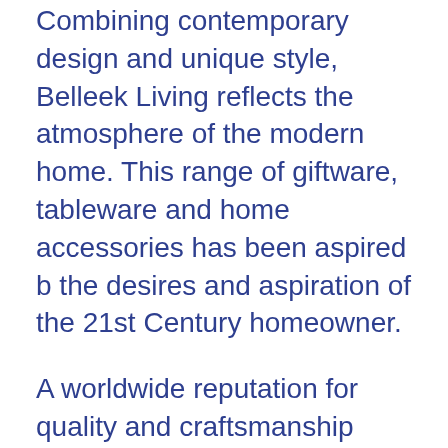Combining contemporary design and unique style, Belleek Living reflects the atmosphere of the modern home. This range of giftware, tableware and home accessories has been aspired b the desires and aspiration of the 21st Century homeowner.
A worldwide reputation for quality and craftsmanship sees the Belleek Living brand, present in homes throughout the world. Here you will find cutting edge designs that are stylish yet practical enough to fit in with any lifestyle.
From the Ripple design range, the Beverage Pot, Sugar and Cream Set are a star buy and are practical with a contemporary edge to this